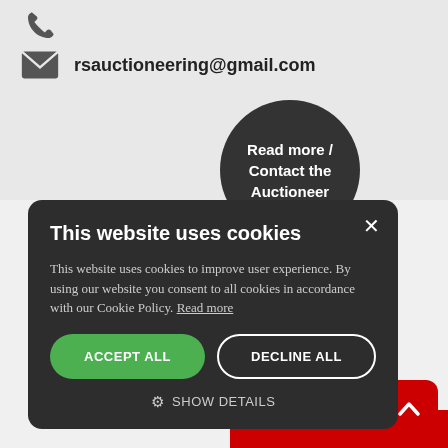[Figure (illustration): Phone icon (handset) in dark gray on light gray background]
rsauctioneering@gmail.com
[Figure (illustration): Dark circle button with text: Read more / Contact the Auctioneer]
[Figure (screenshot): Cookie consent dialog overlay on dark background]
This website uses cookies
This website uses cookies to improve user experience. By using our website you consent to all cookies in accordance with our Cookie Policy. Read more
ACCEPT ALL
DECLINE ALL
SHOW DETAILS
in, Free State,
74 245 2535